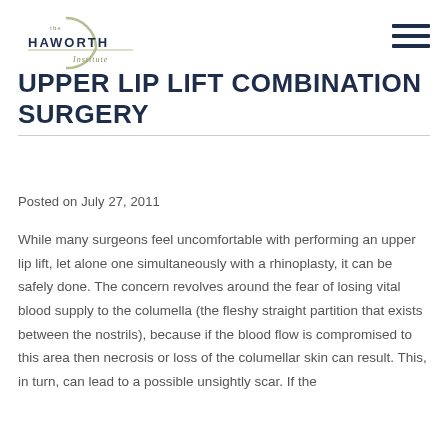[Figure (logo): The Haworth Institute logo with circular arc design and text]
UPPER LIP LIFT COMBINATION SURGERY
Posted on July 27, 2011
While many surgeons feel uncomfortable with performing an upper lip lift, let alone one simultaneously with a rhinoplasty, it can be safely done. The concern revolves around the fear of losing vital blood supply to the columella (the fleshy straight partition that exists between the nostrils), because if the blood flow is compromised to this area then necrosis or loss of the columellar skin can result. This, in turn, can lead to a possible unsightly scar. If the